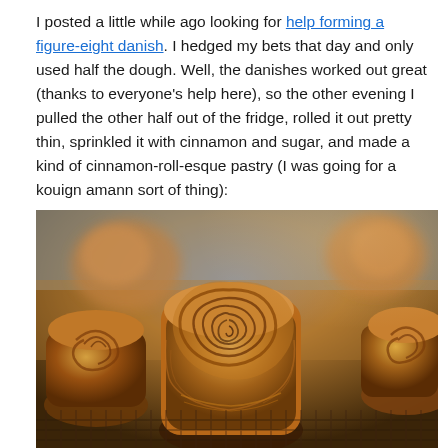I posted a little while ago looking for help forming a figure-eight danish. I hedged my bets that day and only used half the dough. Well, the danishes worked out great (thanks to everyone's help here), so the other evening I pulled the other half out of the fridge, rolled it out pretty thin, sprinkled it with cinnamon and sugar, and made a kind of cinnamon-roll-esque pastry (I was going for a kouign amann sort of thing):
[Figure (photo): Close-up photo of golden-brown swirled cinnamon pastries on a cooling rack, resembling kouign amann or cinnamon rolls, with a blurred background]